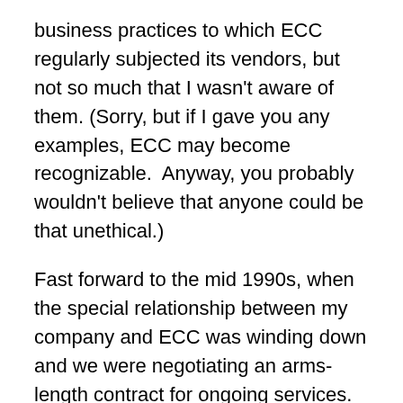business practices to which ECC regularly subjected its vendors, but not so much that I wasn't aware of them. (Sorry, but if I gave you any examples, ECC may become recognizable.  Anyway, you probably wouldn't believe that anyone could be that unethical.)
Fast forward to the mid 1990s, when the special relationship between my company and ECC was winding down and we were negotiating an arms-length contract for ongoing services.  There was a book at the time by Chester Karrass entitled “The Art of Negotiating.”  In it, Karrass listed a large number of unethical negotiating tactics.  He wasn't recommending them, mind you, he just wanted you to be prepared.  According to my colleagues who spent nearly a year negotiating the wind-down contract, ECC's negotiators ran down the entire list, using all the unethical tactics, more or less in order.  Once the